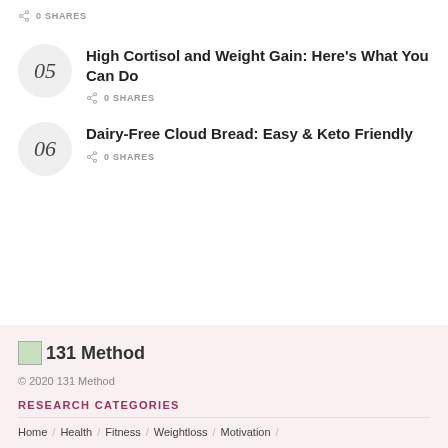0 SHARES
05 High Cortisol and Weight Gain: Here's What You Can Do — 0 SHARES
06 Dairy-Free Cloud Bread: Easy & Keto Friendly — 0 SHARES
[Figure (logo): 131 Method logo with small green image placeholder]
© 2020 131 Method
RESEARCH CATEGORIES
Home / Health / Fitness / Weightloss / Motivation /